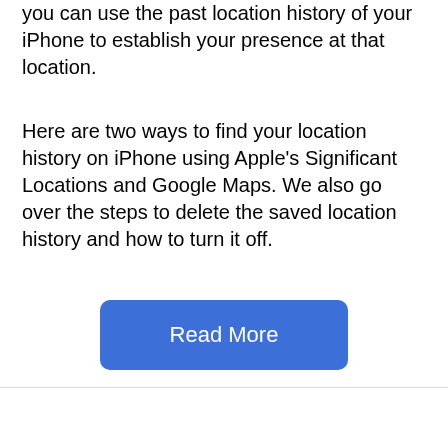you can use the past location history of your iPhone to establish your presence at that location.
Here are two ways to find your location history on iPhone using Apple's Significant Locations and Google Maps. We also go over the steps to delete the saved location history and how to turn it off.
Read More